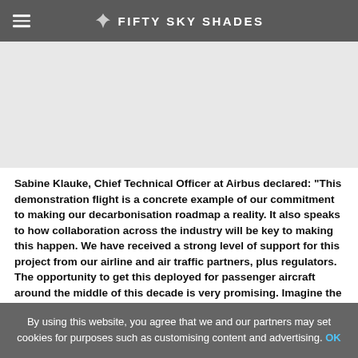FIFTY SKY SHADES
[Figure (photo): Blank light gray image placeholder area]
Sabine Klauke, Chief Technical Officer at Airbus declared: "This demonstration flight is a concrete example of our commitment to making our decarbonisation roadmap a reality. It also speaks to how collaboration across the industry will be key to making this happen. We have received a strong level of support for this project from our airline and air traffic partners, plus regulators. The opportunity to get this deployed for passenger aircraft around the middle of this decade is very promising. Imagine the
By using this website, you agree that we and our partners may set cookies for purposes such as customising content and advertising. OK
Pilots from Airbus partner airlines SAS Scandinavian Airlines and Frenchbee witnessed the transatlantic flight onboard as observers. The flight